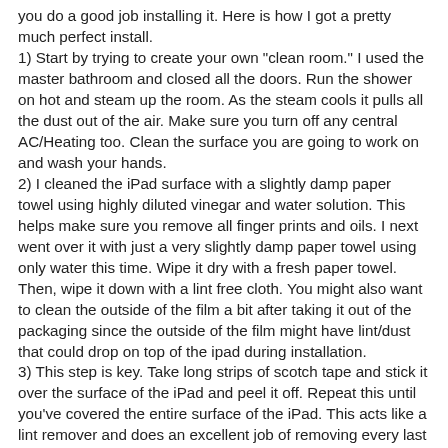you do a good job installing it. Here is how I got a pretty much perfect install.
1) Start by trying to create your own "clean room." I used the master bathroom and closed all the doors. Run the shower on hot and steam up the room. As the steam cools it pulls all the dust out of the air. Make sure you turn off any central AC/Heating too. Clean the surface you are going to work on and wash your hands.
2) I cleaned the iPad surface with a slightly damp paper towel using highly diluted vinegar and water solution. This helps make sure you remove all finger prints and oils. I next went over it with just a very slightly damp paper towel using only water this time. Wipe it dry with a fresh paper towel. Then, wipe it down with a lint free cloth. You might also want to clean the outside of the film a bit after taking it out of the packaging since the outside of the film might have lint/dust that could drop on top of the ipad during installation.
3) This step is key. Take long strips of scotch tape and stick it over the surface of the iPad and peel it off. Repeat this until you've covered the entire surface of the iPad. This acts like a lint remover and does an excellent job of removing every last spec of dust or lint. Tape is cheap. Your screen protector